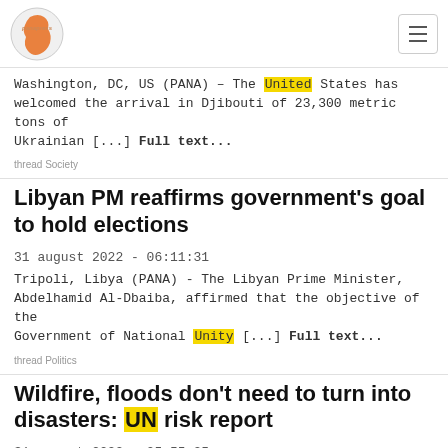panapress
Washington, DC, US (PANA) – The United States has welcomed the arrival in Djibouti of 23,300 metric tons of Ukrainian [...] Full text...
thread Society
Libyan PM reaffirms government's goal to hold elections
31 august 2022 - 06:11:31
Tripoli, Libya (PANA) - The Libyan Prime Minister, Abdelhamid Al-Dbaiba, affirmed that the objective of the Government of National Unity [...] Full text...
thread Politics
Wildfire, floods don't need to turn into disasters: UN risk report
31 august 2022 - 05:55:25
New York, US (PANA) – Hazards such as earthquakes, floods, heatwaves, and wildfires, can be prevented from becoming life-threatening disasters, [...] Full text...